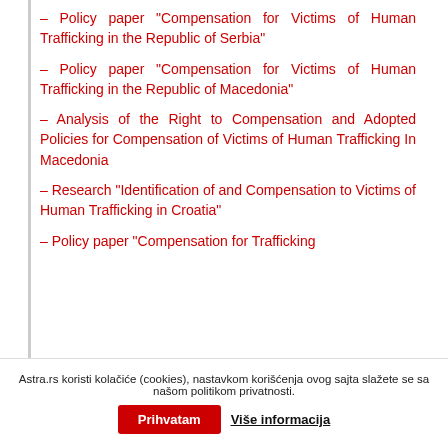– Policy paper “Compensation for Victims of Human Trafficking in the Republic of Serbia”
– Policy paper “Compensation for Victims of Human Trafficking in the Republic of Macedonia”
– Analysis of the Right to Compensation and Adopted Policies for Compensation of Victims of Human Trafficking In Macedonia
– Research “Identification of and Compensation to Victims of Human Trafficking in Croatia”
– Policy paper “Compensation for Trafficking
Astra.rs koristi kolačiće (cookies), nastavkom korišćenja ovog sajta slažete se sa našom politikom privatnosti.
Prihvatam
Više informacija